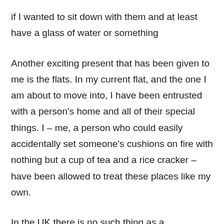if I wanted to sit down with them and at least have a glass of water or something
Another exciting present that has been given to me is the flats. In my current flat, and the one I am about to move into, I have been entrusted with a person’s home and all of their special things. I – me, a person who could easily accidentally set someone’s cushions on fire with nothing but a cup of tea and a rice cracker – have been allowed to treat these places like my own.
In the UK there is no such thing as a ‘Zwischenmiete’, where you can rent a person’s